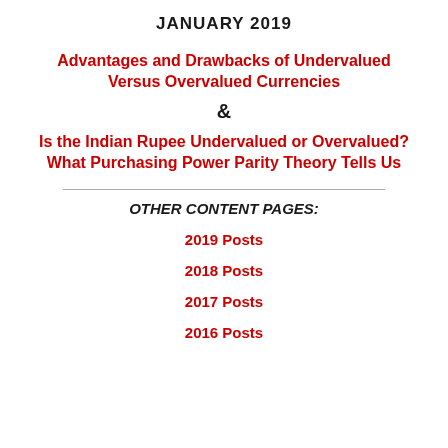JANUARY 2019
Advantages and Drawbacks of Undervalued Versus Overvalued Currencies
&
Is the Indian Rupee Undervalued or Overvalued? What Purchasing Power Parity Theory Tells Us
OTHER CONTENT PAGES:
2019 Posts
2018 Posts
2017 Posts
2016 Posts